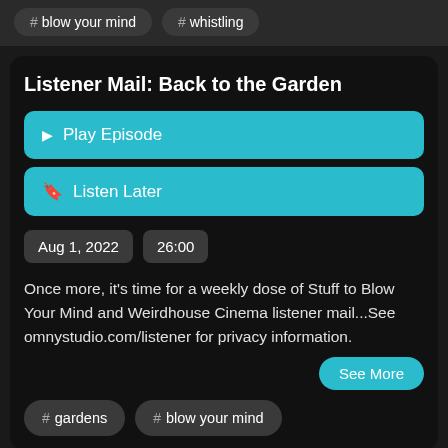# blow your mind
# whistling
Listener Mail: Back to the Garden
Play Episode
Listen Later
Aug 1, 2022
26:00
Once more, it's time for a weekly dose of Stuff to Blow Your Mind and Weirdhouse Cinema listener mail...See omnystudio.com/listener for privacy information.
See More
# gardens
# blow your mind